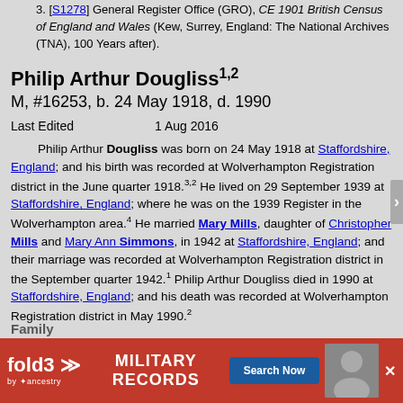3. [S1278] General Register Office (GRO), CE 1901 British Census of England and Wales (Kew, Surrey, England: The National Archives (TNA), 100 Years after).
Philip Arthur Dougliss
M, #16253, b. 24 May 1918, d. 1990
Last Edited     1 Aug 2016
Philip Arthur Dougliss was born on 24 May 1918 at Staffordshire, England; and his birth was recorded at Wolverhampton Registration district in the June quarter 1918.3,2 He lived on 29 September 1939 at Staffordshire, England; where he was on the 1939 Register in the Wolverhampton area.4 He married Mary Mills, daughter of Christopher Mills and Mary Ann Simmons, in 1942 at Staffordshire, England; and their marriage was recorded at Wolverhampton Registration district in the September quarter 1942.1 Philip Arthur Dougliss died in 1990 at Staffordshire, England; and his death was recorded at Wolverhampton Registration district in May 1990.2
Family